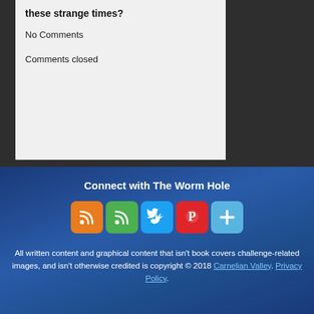these strange times?
No Comments
Comments closed
Connect with The Worm Hole
[Figure (infographic): Five social media icon buttons: RSS (orange), RSS/green, Twitter (blue), Pinterest (red), Plus/blue]
All written content and graphical content that isn't book covers challenge-related images, and isn't otherwise credited is copyright © 2018 Carnelian Valley. Privacy Policy.